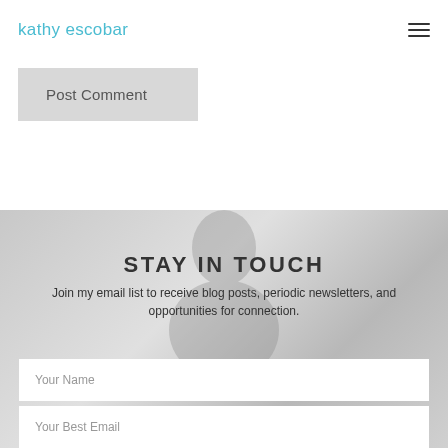kathy escobar
Post Comment
STAY IN TOUCH
Join my email list to receive blog posts, periodic newsletters, and opportunities for connection.
Your Name
Your Best Email